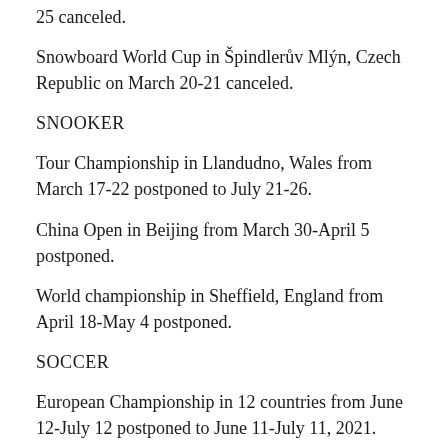25 canceled.
Snowboard World Cup in Špindlerův Mlýn, Czech Republic on March 20-21 canceled.
SNOOKER
Tour Championship in Llandudno, Wales from March 17-22 postponed to July 21-26.
China Open in Beijing from March 30-April 5 postponed.
World championship in Sheffield, England from April 18-May 4 postponed.
SOCCER
European Championship in 12 countries from June 12-July 12 postponed to June 11-July 11, 2021.
Copa America in Argentina and Colombia from June 12-July 12 postponed to June 11-July 11, 2021.